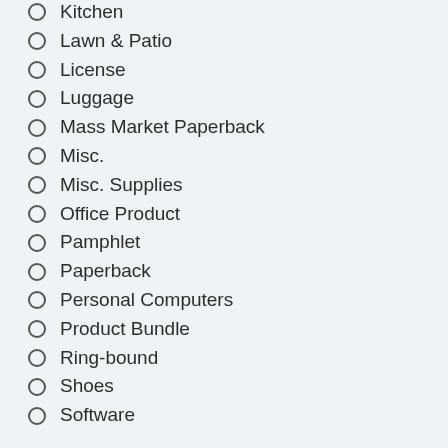Kitchen
Lawn & Patio
License
Luggage
Mass Market Paperback
Misc.
Misc. Supplies
Office Product
Pamphlet
Paperback
Personal Computers
Product Bundle
Ring-bound
Shoes
Software